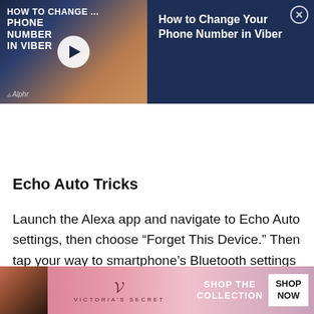[Figure (screenshot): Video thumbnail for 'How to Change Your Phone Number in Viber' with dark navy background, play button, and Alphr branding]
How to Change Your Phone Number in Viber
Echo Auto Tricks
Launch the Alexa app and navigate to Echo Auto settings, then choose “Forget This Device.” Then tap your way to smartphone’s Bluetooth settings and see if the phone is paired with Ech…
[Figure (photo): Victoria's Secret advertisement banner with model, VS logo, 'Shop the Collection' text, and 'Shop Now' button]